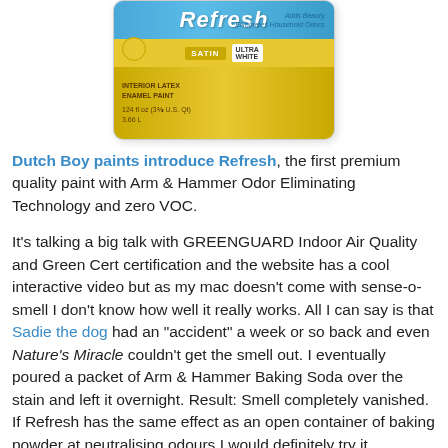[Figure (photo): A paint can of Dutch Boy Refresh paint product with blue and yellow label showing Arm & Hammer branding, Satin finish, Interior Latex Enamel Paint, 124 fl oz]
Dutch Boy paints introduce Refresh, the first premium quality paint with Arm & Hammer Odor Eliminating Technology and zero VOC.

It's talking a big talk with GREENGUARD Indoor Air Quality and Green Cert certification and the website has a cool interactive video but as my mac doesn't come with sense-o-smell I don't know how well it really works. All I can say is that Sadie the dog had an "accident" a week or so back and even Nature's Miracle couldn't get the smell out. I eventually poured a packet of Arm & Hammer Baking Soda over the stain and left it overnight. Result: Smell completely vanished. If Refresh has the same effect as an open container of baking powder at neutralising odours I would definitely try it.